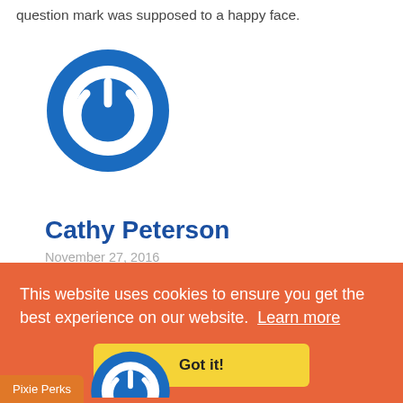question mark was supposed to a happy face.
[Figure (logo): Blue circular power button logo icon]
Cathy Peterson
November 27, 2016
I love Pixie Faire because I love dolls! The patterns are darling and the dolls are adorable. The encouragement & support you
This website uses cookies to ensure you get the best experience on our website.  Learn more
Got it!
Pixie Perks